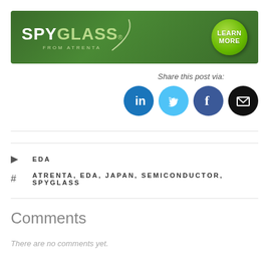[Figure (logo): SpyGlass from Atrenta banner with green background and Learn More button]
Share this post via:
[Figure (infographic): Social media sharing icons: LinkedIn, Twitter, Facebook, Email]
EDA
ATRENTA, EDA, JAPAN, SEMICONDUCTOR, SPYGLASS
Comments
There are no comments yet.